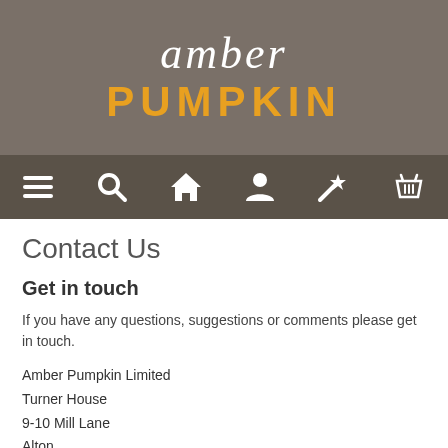[Figure (logo): Amber Pumpkin logo with 'amber' in white handwritten script and 'PUMPKIN' in orange bold capitals on a grey banner background]
[Figure (infographic): Navigation bar with six white icons: hamburger menu, search, home, user/account, magic wand/wishlist, shopping basket]
Contact Us
Get in touch
If you have any questions, suggestions or comments please get in touch.
Amber Pumpkin Limited
Turner House
9-10 Mill Lane
Alton
Hampshire
GU34 2QG
We aren't always by the phone so the quickest way to get hold of us is by